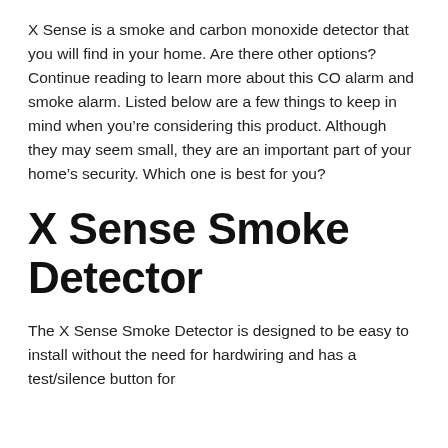X Sense is a smoke and carbon monoxide detector that you will find in your home. Are there other options? Continue reading to learn more about this CO alarm and smoke alarm. Listed below are a few things to keep in mind when you're considering this product. Although they may seem small, they are an important part of your home's security. Which one is best for you?
X Sense Smoke Detector
The X Sense Smoke Detector is designed to be easy to install without the need for hardwiring and has a test/silence button for